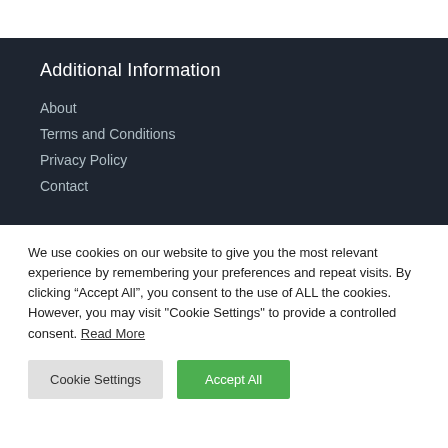Additional Information
About
Terms and Conditions
Privacy Policy
Contact
We use cookies on our website to give you the most relevant experience by remembering your preferences and repeat visits. By clicking “Accept All”, you consent to the use of ALL the cookies. However, you may visit "Cookie Settings" to provide a controlled consent. Read More
Cookie Settings | Accept All